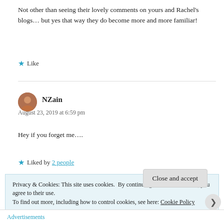Not other than seeing their lovely comments on yours and Rachel’s blogs… but yes that way they do become more and more familiar!
★ Like
NZain
August 23, 2019 at 6:59 pm

Hey if you forget me….
★ Liked by 2 people
Privacy & Cookies: This site uses cookies. By continuing to use this website, you agree to their use.
To find out more, including how to control cookies, see here: Cookie Policy
Close and accept
Advertisements